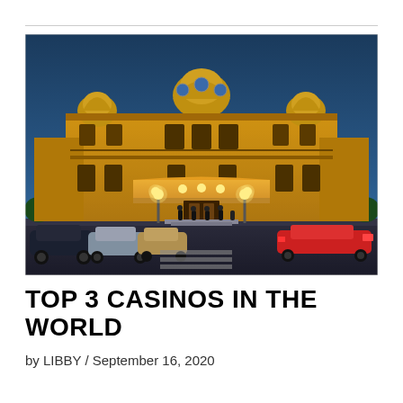[Figure (photo): Grand casino building photographed at dusk/night with warm golden lighting illuminating the ornate Belle Époque facade. Luxury cars including a red Ferrari are parked in front. People gather on the steps. The sky is deep blue.]
TOP 3 CASINOS IN THE WORLD
by LIBBY / September 16, 2020